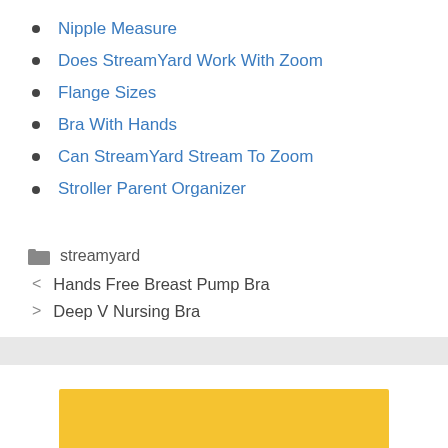Nipple Measure
Does StreamYard Work With Zoom
Flange Sizes
Bra With Hands
Can StreamYard Stream To Zoom
Stroller Parent Organizer
streamyard
< Hands Free Breast Pump Bra
> Deep V Nursing Bra
[Figure (other): Yellow/gold colored rectangular banner or advertisement block]